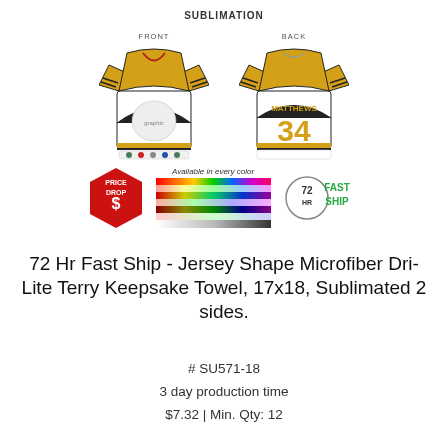SUBLIMATION
[Figure (photo): Two jersey-shaped microfiber towels shown front and back. Front shows a hockey team graphic with gold and white colors. Back shows 'MATTHEWS 34' in gold letters. Below the jerseys: a red 'PRICE DROP $' badge, a color swatch stripe labeled 'Available in every color', and a '72 HR FAST SHIP' badge.]
72 Hr Fast Ship - Jersey Shape Microfiber Dri-Lite Terry Keepsake Towel, 17x18, Sublimated 2 sides.
# SU571-18
3 day production time
$7.32 | Min. Qty: 12